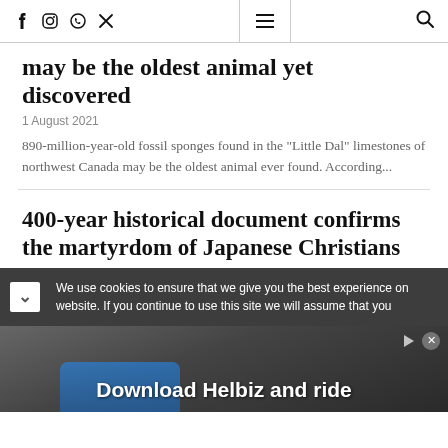Social icons and navigation menu with search
may be the oldest animal yet discovered
1 August 2021
890-million-year-old fossil sponges found in the “Little Dal” limestones of northwest Canada may be the oldest animal ever found. According...
400-year historical document confirms the martyrdom of Japanese Christians
We use cookies to ensure that we give you the best experience on website. If you continue to use this site we will assume that you
[Figure (screenshot): Advertisement banner showing 'Download Helbiz and ride' with a bicycle/scooter handlebar image in background]